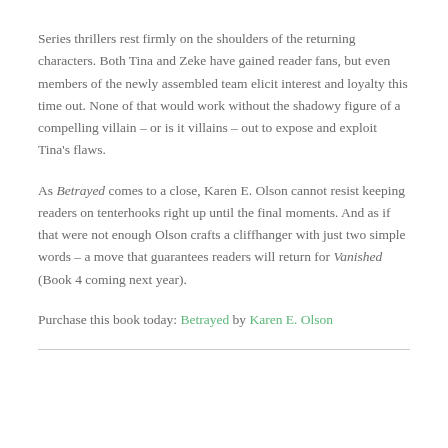Series thrillers rest firmly on the shoulders of the returning characters. Both Tina and Zeke have gained reader fans, but even members of the newly assembled team elicit interest and loyalty this time out. None of that would work without the shadowy figure of a compelling villain – or is it villains – out to expose and exploit Tina's flaws.
As Betrayed comes to a close, Karen E. Olson cannot resist keeping readers on tenterhooks right up until the final moments. And as if that were not enough Olson crafts a cliffhanger with just two simple words – a move that guarantees readers will return for Vanished (Book 4 coming next year).
Purchase this book today: Betrayed by Karen E. Olson